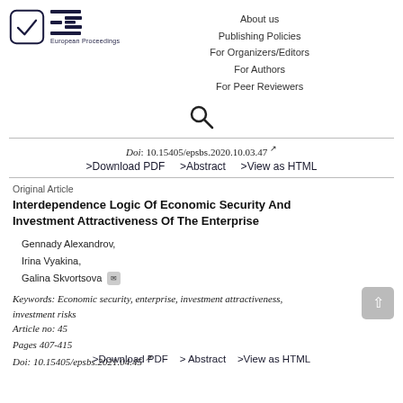[Figure (logo): European Proceedings logo with checkmark in rounded square and EP text]
About us
Publishing Policies
For Organizers/Editors
For Authors
For Peer Reviewers
[Figure (other): Search icon (magnifying glass)]
Doi: 10.15405/epsbs.2020.10.03.47
>Download PDF   >Abstract   >View as HTML
Original Article
Interdependence Logic Of Economic Security And Investment Attractiveness Of The Enterprise
Gennady Alexandrov,
Irina Vyakina,
Galina Skvortsova
Keywords: Economic security, enterprise, investment attractiveness, investment risks
Article no: 45
Pages 407-415
Doi: 10.15405/epsbs.2021.04.45
>Download PDF   >Abstract   >View as HTML